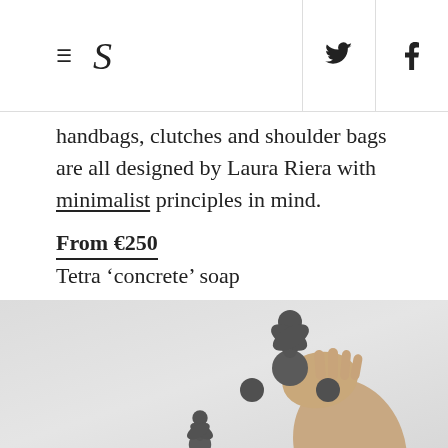≡  S  [twitter] [facebook]
handbags, clutches and shoulder bags are all designed by Laura Riera with minimalist principles in mind.
From €250
Tetra 'concrete' soap
[Figure (photo): A hand holding a dark grey tetrahedral/multi-pronged concrete soap object against a light grey background, with another similar soap object partially visible at the bottom.]